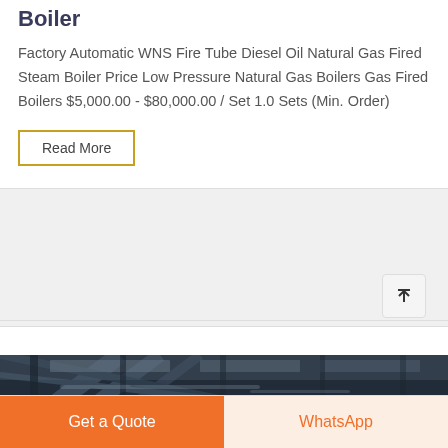Gas/Oil AFOU Boiler, DZL Szlly Biomass AFOU Boiler
Factory Automatic WNS Fire Tube Diesel Oil Natural Gas Fired Steam Boiler Price Low Pressure Natural Gas Boilers Gas Fired Boilers $5,000.00 - $80,000.00 / Set 1.0 Sets (Min. Order)
Read More
[Figure (photo): Industrial boiler or factory ceiling interior with metal beams and reflective surfaces, dark blue-grey tones]
Get a Quote
WhatsApp